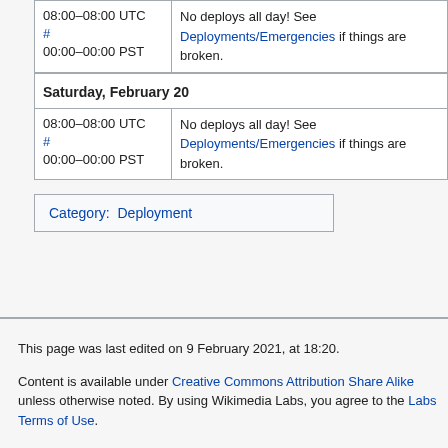| Time | Description |
| --- | --- |
| 08:00–08:00 UTC #
00:00–00:00 PST | No deploys all day! See Deployments/Emergencies if things are broken. |
| Saturday, February 20 |  |
| 08:00–08:00 UTC #
00:00–00:00 PST | No deploys all day! See Deployments/Emergencies if things are broken. |
Category: Deployment
This page was last edited on 9 February 2021, at 18:20.

Content is available under Creative Commons Attribution Share Alike unless otherwise noted. By using Wikimedia Labs, you agree to the Labs Terms of Use.